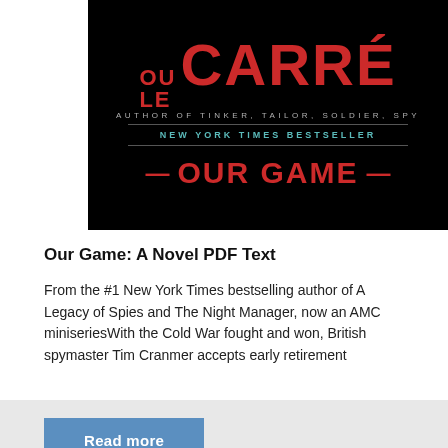[Figure (illustration): Book cover of 'Our Game' by John le Carré on a black background. Large red bold text shows 'le CARRÉ', with small grey text 'AUTHOR OF TINKER, TAILOR, SOLDIER, SPY', then teal text 'NEW YORK TIMES BESTSELLER', followed by red bold title 'OUR GAME' with red dashes on either side.]
Our Game: A Novel PDF Text
From the #1 New York Times bestselling author of A Legacy of Spies and The Night Manager, now an AMC miniseriesWith the Cold War fought and won, British spymaster Tim Cranmer accepts early retirement
Read more